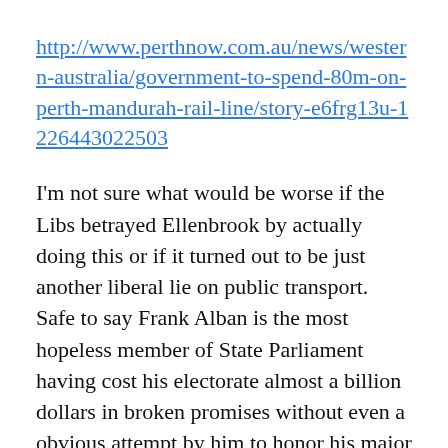http://www.perthnow.com.au/news/western-australia/government-to-spend-80m-on-perth-mandurah-rail-line/story-e6frg13u-1226443022503
I'm not sure what would be worse if the Libs betrayed Ellenbrook by actually doing this or if it turned out to be just another liberal lie on public transport. Safe to say Frank Alban is the most hopeless member of State Parliament having cost his electorate almost a billion dollars in broken promises without even a obvious attempt by him to honor his major campaign promise. Pathetic liberal fail.